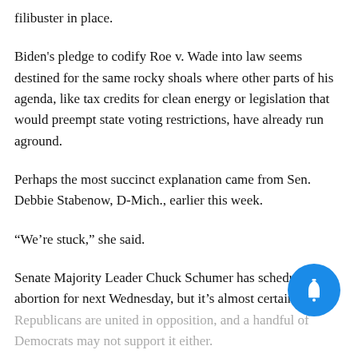filibuster in place.
Biden's pledge to codify Roe v. Wade into law seems destined for the same rocky shoals where other parts of his agenda, like tax credits for clean energy or legislation that would preempt state voting restrictions, have already run aground.
Perhaps the most succinct explanation came from Sen. Debbie Stabenow, D-Mich., earlier this week.
“We’re stuck,” she said.
Senate Majority Leader Chuck Schumer has scheduled on abortion for next Wednesday, but it’s almost certain Republicans are united in opposition, and a handful of Democrats may not support it either.